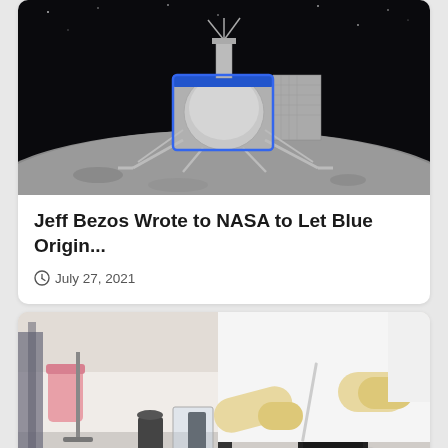[Figure (photo): Blue Origin lunar lander spacecraft on the surface of the Moon, with a black starry sky background. The lander is silver and blue with landing legs extended.]
Jeff Bezos Wrote to NASA to Let Blue Origin...
July 27, 2021
[Figure (photo): A laboratory scientist in white lab coat and beige gloves working with equipment on a lab bench. Laboratory instruments visible in the background.]